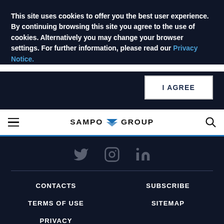This site uses cookies to offer you the best user experience. By continuing browsing this site you agree to the use of cookies. Alternatively you may change your browser settings. For further information, please read our Privacy Notice.
[Figure (other): I AGREE button - white rectangular button with dark bold text]
[Figure (logo): Navigation bar with hamburger menu icon on left, SAMPO GROUP logo with chevron icon in center, search icon on right]
[Figure (other): Social media icons row: Twitter bird icon, Instagram camera icon, LinkedIn 'in' icon, all in dark gray]
CONTACTS
SUBSCRIBE
TERMS OF USE
SITEMAP
PRIVACY